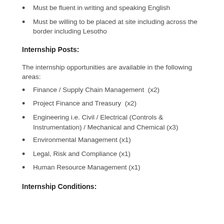Must be fluent in writing and speaking English
Must be willing to be placed at site including across the border including Lesotho
Internship Posts:
The internship opportunities are available in the following areas:
Finance / Supply Chain Management  (x2)
Project Finance and Treasury  (x2)
Engineering i.e. Civil / Electrical (Controls & Instrumentation) / Mechanical and Chemical (x3)
Environmental Management (x1)
Legal, Risk and Compliance (x1)
Human Resource Management (x1)
Internship Conditions: